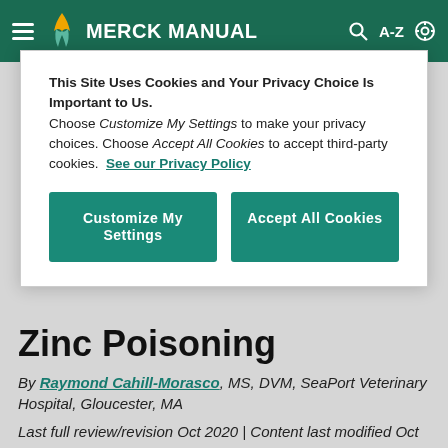MERCK MANUAL
This Site Uses Cookies and Your Privacy Choice Is Important to Us. Choose Customize My Settings to make your privacy choices. Choose Accept All Cookies to accept third-party cookies. See our Privacy Policy
Customize My Settings | Accept All Cookies
Zinc Poisoning
By Raymond Cahill-Morasco, MS, DVM, SeaPort Veterinary Hospital, Gloucester, MA
Last full review/revision Oct 2020 | Content last modified Oct 2020
Zinc is an essential trace metal that plays an important role in many biologic processes. Zinc toxicity has been seen in a wide range of animals. It is most common in pet dogs, possibly because of their indiscriminate eating